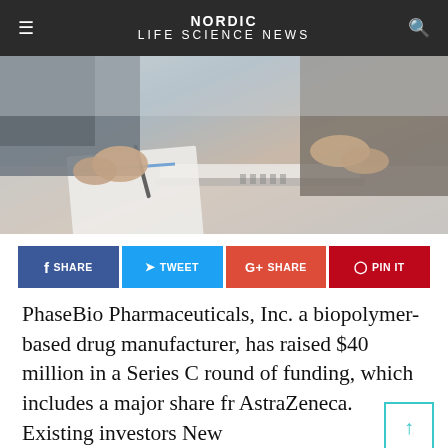NORDIC LIFE SCIENCE NEWS
[Figure (photo): Close-up photo of business people signing a document at a desk, hands visible, grayscale/muted tones]
f SHARE   TWEET   G+ SHARE   PIN IT
PhaseBio Pharmaceuticals, Inc. a biopolymer-based drug manufacturer, has raised $40 million in a Series C round of funding, which includes a major share fr AstraZeneca. Existing investors New